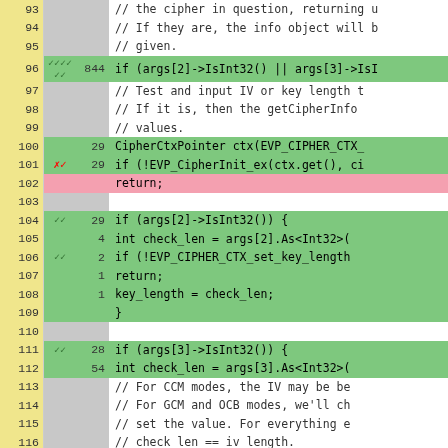[Figure (screenshot): Code coverage viewer showing lines 93-117 of C++ source code with line numbers, coverage marks, execution counts, and highlighted coverage status. Green rows indicate covered lines, pink row indicates uncovered line, grey rows have no coverage data.]